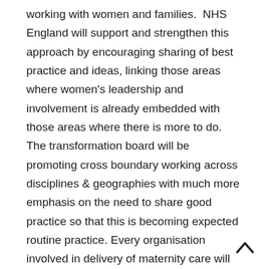working with women and families. NHS England will support and strengthen this approach by encouraging sharing of best practice and ideas, linking those areas where women's leadership and involvement is already embedded with those areas where there is more to do. The transformation board will be promoting cross boundary working across disciplines & geographies with much more emphasis on the need to share good practice so that this is becoming expected routine practice. Every organisation involved in delivery of maternity care will be expected to have a Maternity champion on the board. The National maternity transformation board will support these champions gathering them together to exchange ideas and encourage shared